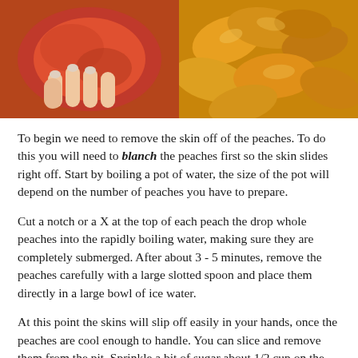[Figure (photo): Two side-by-side food photos: left shows a hand holding/peeling a peach with red/orange skin; right shows sliced peach pieces in orange/yellow tones.]
To begin we need to remove the skin off of the peaches. To do this you will need to blanch the peaches first so the skin slides right off. Start by boiling a pot of water, the size of the pot will depend on the number of peaches you have to prepare.
Cut a notch or a X at the top of each peach the drop whole peaches into the rapidly boiling water, making sure they are completely submerged. After about 3 - 5 minutes, remove the peaches carefully with a large slotted spoon and place them directly in a large bowl of ice water.
At this point the skins will slip off easily in your hands, once the peaches are cool enough to handle. You can slice and remove them from the pit. Sprinkle a bit of sugar about 1/2 cup on the peaches and set aside.